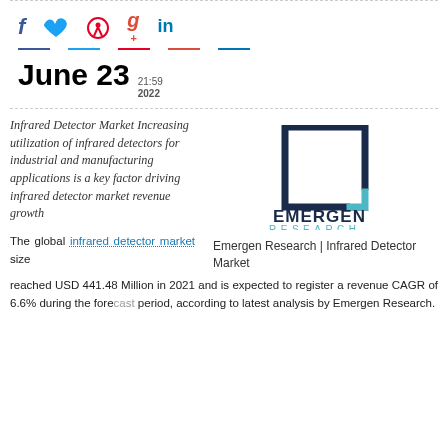[Figure (other): Social media share icons: Facebook (f), Twitter (bird), Pinterest (p), Google+ (g+), LinkedIn (in) with colored underlines]
June 23  21:59 2022
Infrared Detector Market Increasing utilization of infrared detectors for industrial and manufacturing applications is a key factor driving infrared detector market revenue growth
[Figure (logo): Emergen Research logo: dark navy square outline with teal bottom-right corner accent, text EMERGEN in dark navy bold, RESEARCH in teal spaced letters below]
Emergen Research | Infrared Detector Market
The global infrared detector market size reached USD 441.48 Million in 2021 and is expected to register a revenue CAGR of 6.6% during the forecast period, according to latest analysis by Emergen Research.